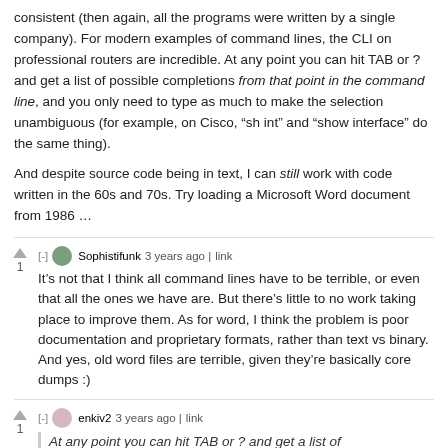consistent (then again, all the programs were written by a single company). For modern examples of command lines, the CLI on professional routers are incredible. At any point you can hit TAB or ? and get a list of possible completions from that point in the command line, and you only need to type as much to make the selection unambiguous (for example, on Cisco, “sh int” and “show interface” do the same thing).
And despite source code being in text, I can still work with code written in the 60s and 70s. Try loading a Microsoft Word document from 1986 …
Sophistifunk 3 years ago | link
It’s not that I think all command lines have to be terrible, or even that all the ones we have are. But there’s little to no work taking place to improve them. As for word, I think the problem is poor documentation and proprietary formats, rather than text vs binary. And yes, old word files are terrible, given they’re basically core dumps :)
enkiv2 3 years ago | link
At any point you can hit TAB or ? and get a list of possible completions from that point in the command